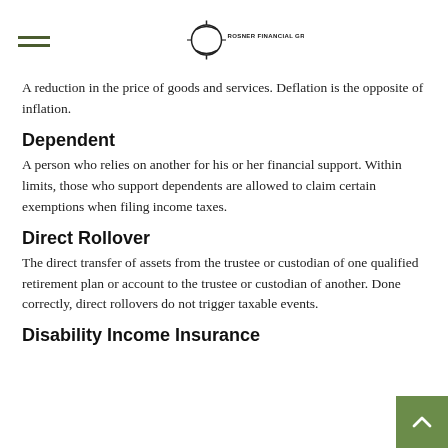Rosner Financial Group
A reduction in the price of goods and services. Deflation is the opposite of inflation.
Dependent
A person who relies on another for his or her financial support. Within limits, those who support dependents are allowed to claim certain exemptions when filing income taxes.
Direct Rollover
The direct transfer of assets from the trustee or custodian of one qualified retirement plan or account to the trustee or custodian of another. Done correctly, direct rollovers do not trigger taxable events.
Disability Income Insurance